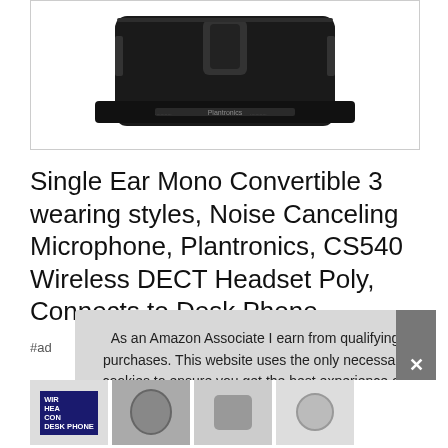[Figure (photo): Photo of a Plantronics CS540 wireless headset base unit, black colored device on white background]
Single Ear Mono Convertible 3 wearing styles, Noise Canceling Microphone, Plantronics, CS540 Wireless DECT Headset Poly, Connects to Desk Phone
#ad
As an Amazon Associate I earn from qualifying purchases. This website uses the only necessary cookies to ensure you get the best experience on our website. More information
[Figure (photo): Thumbnail images of wireless headsets at bottom of page]